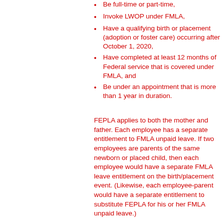Be full-time or part-time,
Invoke LWOP under FMLA,
Have a qualifying birth or placement (adoption or foster care) occurring after October 1, 2020,
Have completed at least 12 months of Federal service that is covered under FMLA, and
Be under an appointment that is more than 1 year in duration.
FEPLA applies to both the mother and father. Each employee has a separate entitlement to FMLA unpaid leave. If two employees are parents of the same newborn or placed child, then each employee would have a separate FMLA leave entitlement on the birth/placement event. (Likewise, each employee-parent would have a separate entitlement to substitute FEPLA for his or her FMLA unpaid leave.)